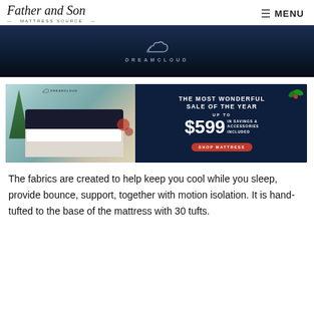Father and Son MATTRESS SOURCE | MENU
[Figure (photo): DreamCloud dark navy banner with cloud logo and DREAMCLOUD text]
[Figure (photo): DreamCloud holiday sale advertisement: bedroom with mattress on left, navy background on right with text 'THE MOST WONDERFUL SALE OF THE YEAR UP TO $599 IN SAVINGS & ACCESSORIES INCLUDED SHOP MATTRESS']
The fabrics are created to help keep you cool while you sleep, provide bounce, support, together with motion isolation. It is hand-tufted to the base of the mattress with 30 tufts.